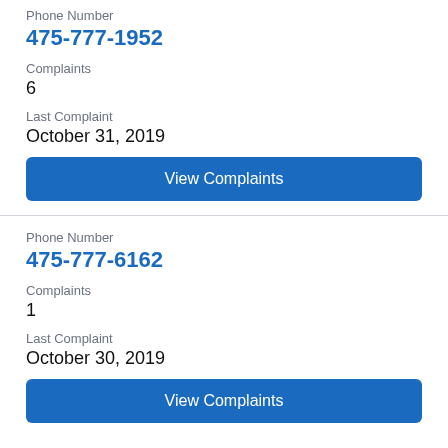Phone Number
475-777-1952
Complaints
6
Last Complaint
October 31, 2019
View Complaints
Phone Number
475-777-6162
Complaints
1
Last Complaint
October 30, 2019
View Complaints